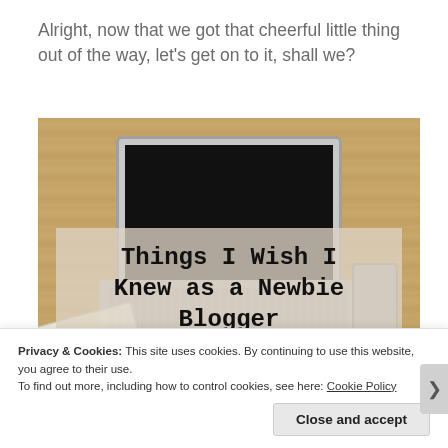Alright, now that we got that cheerful little thing out of the way, let's get on to it, shall we?
[Figure (illustration): A laptop computer open on a wooden desk with a notebook, pen, phone, and coffee cup. Overlaid text reads: Things I Wish I Knew as a Newbie Blogger]
Privacy & Cookies: This site uses cookies. By continuing to use this website, you agree to their use.
To find out more, including how to control cookies, see here: Cookie Policy
Close and accept